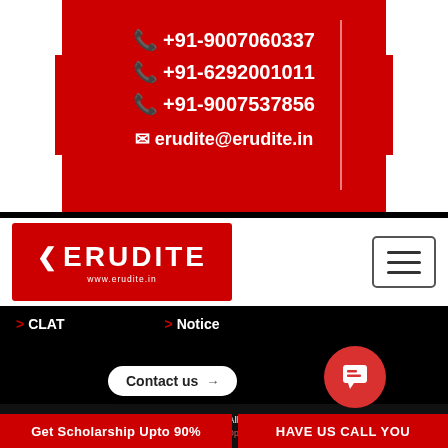[Figure (logo): Erudite contact info banner with phone numbers and email on red background]
+91-9007060337
+91-6292001011
+91-9007537856
erudite@erudite.in
[Figure (logo): Erudite logo with red background and www.erudite.in URL]
> CLAT
> Notice
©2022 Erudite Career Enablers LLP. All Rights Reserved.Privacy Policy
Payment Options
Get Scholarship Upto 90%
HAVE US CALL YOU